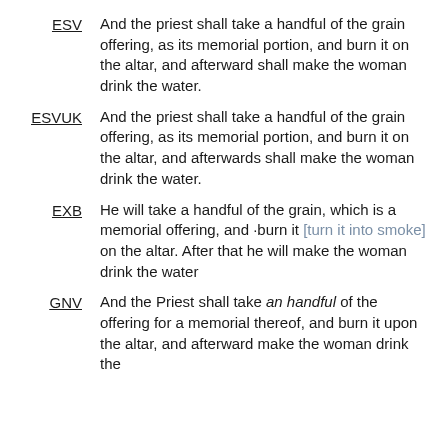ESV: And the priest shall take a handful of the grain offering, as its memorial portion, and burn it on the altar, and afterward shall make the woman drink the water.
ESVUK: And the priest shall take a handful of the grain offering, as its memorial portion, and burn it on the altar, and afterwards shall make the woman drink the water.
EXB: He will take a handful of the grain, which is a memorial offering, and ·burn it [turn it into smoke] on the altar. After that he will make the woman drink the water
GNV: And the Priest shall take an handful of the offering for a memorial thereof, and burn it upon the altar, and afterward make the woman drink the